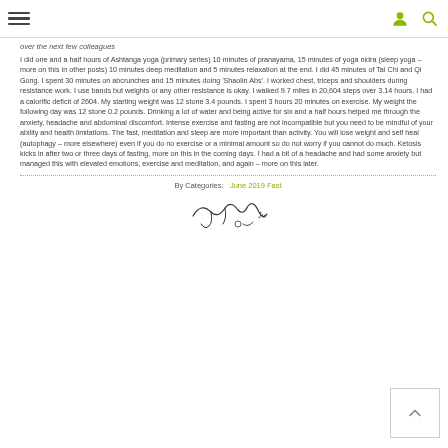[Navigation header with hamburger menu, user icon, and search icon]
over the next few colleagues
I did one and a half hours of Ashtanga yoga (primary series) 10 minutes of pranayama, 15 minutes of yoga nidra (sleep yoga – more on this in other posts) 10 minutes deep meditation and 5 minutes relaxation at the end. I did 45 minutes of Tai Chi and Qi Gong. I spent 30 minutes on abcrunches and 15 minutes doing 'Shaolin Abs'. I worked chest, triceps and shoulders during resistance work. I use bands but weights or any other resistance is okay. I walked 9.7 miles in 20,604 steps over 3.14 hours. I had a calorific deficit of 2604. My starting weight was 12 stone 3.4 pounds. I spent 3 hours 20 minutes on exercise. My weight the following day was 12 stone 0.2 pounds. Drinking a lot of water and being active for six and a half hours helped me through the anxiety, headache and abdominal discomfort. Intense exercise and fasting are not incompatible but you need to be mindful of your ability and health limitations. The fast, meditation and sleep are more important than activity. You will lose weight and self heal (autophagy – more elsewhere) even if you do no exercise or a minimal amount so do not worry if you cannot do much. Ketosis kicks in after two or three days of fasting, more on this in the coming days. I had a bit of a headache and had some anxiety but managed this with elevated emotions, exercise and meditation, and again – more on this later.
By Categories:   June 2019 Fast
[Figure (illustration): Decorative ornamental divider/signature flourish in dark ink]